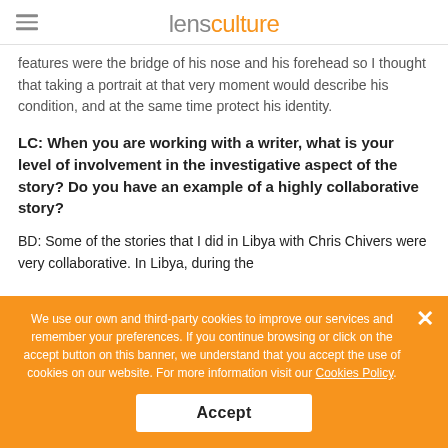lensculture
features were the bridge of his nose and his forehead so I thought that taking a portrait at that very moment would describe his condition, and at the same time protect his identity.
LC: When you are working with a writer, what is your level of involvement in the investigative aspect of the story? Do you have an example of a highly collaborative story?
BD: Some of the stories that I did in Libya with Chris Chivers were very collaborative. In Libya, during the
We use our own and third-party cookies to improve our services and remember your preferences. If you continue browsing or click on the accept button on this banner, we understand that you accept the use of cookies on our website. For more information visit our Cookies Policy.
Accept